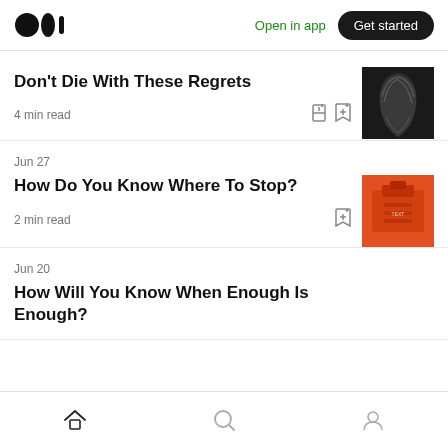Medium logo | Open in app | Get started
Don't Die With These Regrets
4 min read
How Do You Know Where To Stop?
Jun 27
2 min read
Jun 20
How Will You Know When Enough Is Enough?
Home | Search | Profile